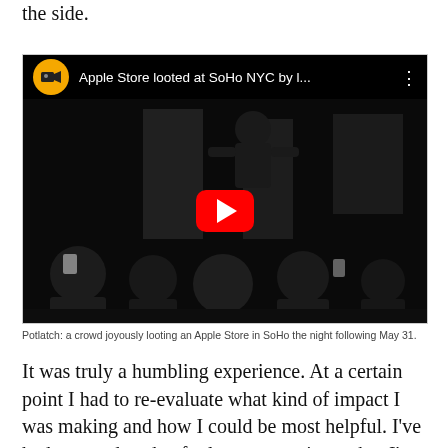the side.
[Figure (screenshot): YouTube video thumbnail showing a crowd looting an Apple Store in SoHo NYC. The video title reads 'Apple Store looted at SoHo NYC by l...' with a yellow circular channel icon featuring a film camera. A red YouTube play button is centered on the black video frame.]
Potlatch: a crowd joyously looting an Apple Store in SoHo the night following May 31.
It was truly a humbling experience. At a certain point I had to re-evaluate what kind of impact I was making and how I could be most helpful. I've had over a decade of relevant experience, but I've never